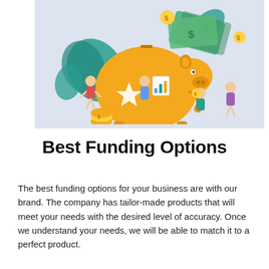[Figure (illustration): Illustration showing people around a large orange piggy bank with coins, money bags, plant leaves, and financial charts on a light blue-grey background]
Best Funding Options
The best funding options for your business are with our brand. The company has tailor-made products that will meet your needs with the desired level of accuracy. Once we understand your needs, we will be able to match it to a perfect product.